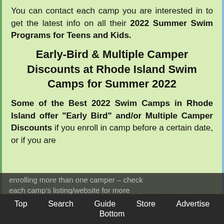You can contact each camp you are interested in to get the latest info on all their 2022 Summer Swim Programs for Teens and Kids.
Early-Bird & Multiple Camper Discounts at Rhode Island Swim Camps for Summer 2022
Some of the Best 2022 Swim Camps in Rhode Island offer "Early Bird" and/or Multiple Camper Discounts if you enroll in camp before a certain date, or if you are enrolling more than one camper – check each camp's listing/website for more info and for info on any available Swim
Top  Search  Guide  Store  Advertise  Bottom